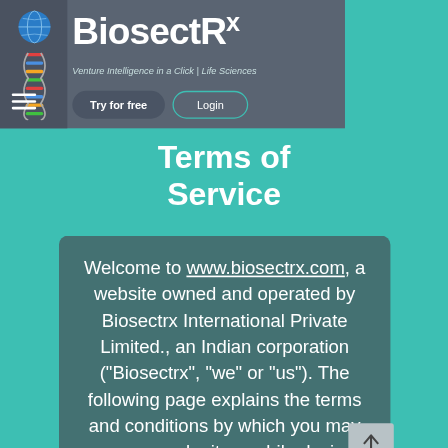[Figure (logo): BiosectRx logo with DNA helix and globe icon]
Terms of Service
Welcome to www.biosectrx.com, a website owned and operated by Biosectrx International Private Limited., an Indian corporation ("Biosectrx", "we" or "us"). The following page explains the terms and conditions by which you may use our web site, mobile device software applications, Application Program Interface and any other mobile or web